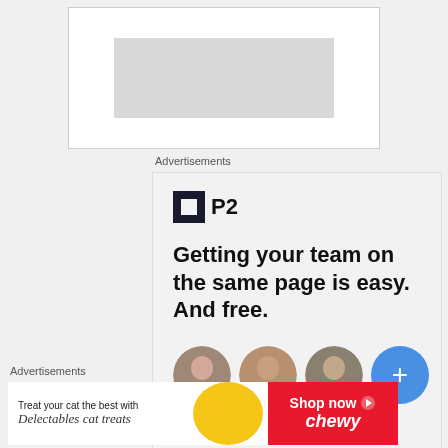[Figure (screenshot): Top portion of a webpage showing a partially visible image placeholder with grey background]
Advertisements
[Figure (screenshot): P2 advertisement with logo, headline 'Getting your team on the same page is easy. And free.' and three circular avatar photos plus a blue plus button]
Advertisements
[Figure (screenshot): Chewy advertisement banner: 'Treat your cat the best with Delectables cat treats' with Shop now button on red background]